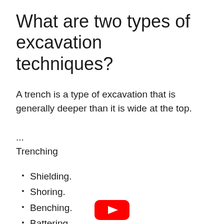What are two types of excavation techniques?
A trench is a type of excavation that is generally deeper than it is wide at the top.
...
Trenching
Shielding.
Shoring.
Benching.
Battering.
[Figure (logo): YouTube logo / play button icon in red at bottom center of page]